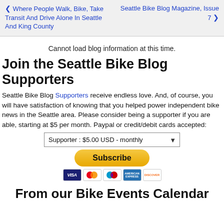❮ Where People Walk, Bike, Take Transit And Drive Alone In Seattle And King County | Seattle Bike Blog Magazine, Issue 7 ❯
Cannot load blog information at this time.
Join the Seattle Bike Blog Supporters
Seattle Bike Blog Supporters receive endless love. And, of course, you will have satisfaction of knowing that you helped power independent bike news in the Seattle area. Please consider being a supporter if you are able, starting at $5 per month. Paypal or credit/debit cards accepted:
[Figure (other): Subscription form with dropdown showing 'Supporter : $5.00 USD - monthly', a yellow Subscribe button, and payment card icons (Visa, Mastercard, Maestro, American Express, Discover)]
From our Bike Events Calendar